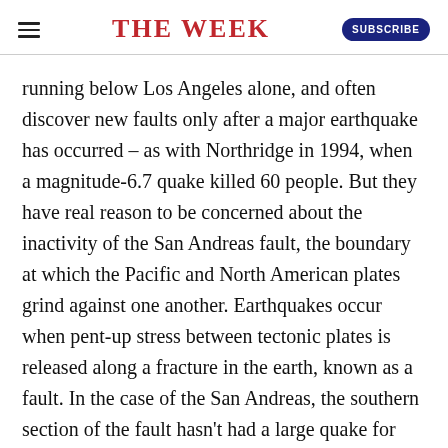THE WEEK
running below Los Angeles alone, and often discover new faults only after a major earthquake has occurred – as with Northridge in 1994, when a magnitude-6.7 quake killed 60 people. But they have real reason to be concerned about the inactivity of the San Andreas fault, the boundary at which the Pacific and North American plates grind against one another. Earthquakes occur when pent-up stress between tectonic plates is released along a fracture in the earth, known as a fault. In the case of the San Andreas, the southern section of the fault hasn't had a large quake for more than a century. "That means stress is building, building, building," said Rufus